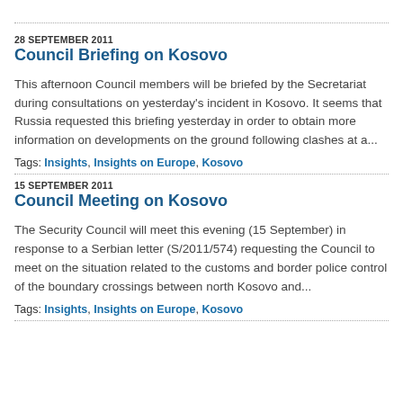[partial link at top]
28 SEPTEMBER 2011 — Council Briefing on Kosovo
This afternoon Council members will be briefed by the Secretariat during consultations on yesterday's incident in Kosovo. It seems that Russia requested this briefing yesterday in order to obtain more information on developments on the ground following clashes at a...
Tags: Insights, Insights on Europe, Kosovo
15 SEPTEMBER 2011 — Council Meeting on Kosovo
The Security Council will meet this evening (15 September) in response to a Serbian letter (S/2011/574) requesting the Council to meet on the situation related to the customs and border police control of the boundary crossings between north Kosovo and...
Tags: Insights, Insights on Europe, Kosovo